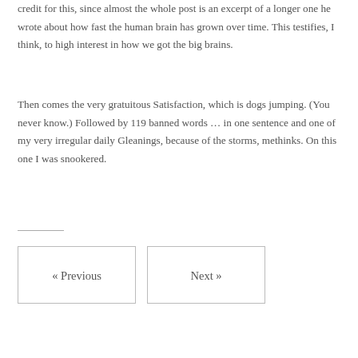credit for this, since almost the whole post is an excerpt of a longer one he wrote about how fast the human brain has grown over time. This testifies, I think, to high interest in how we got the big brains.
Then comes the very gratuitous Satisfaction, which is dogs jumping. (You never know.) Followed by 119 banned words … in one sentence and one of my very irregular daily Gleanings, because of the storms, methinks. On this one I was snookered.
« Previous
Next »